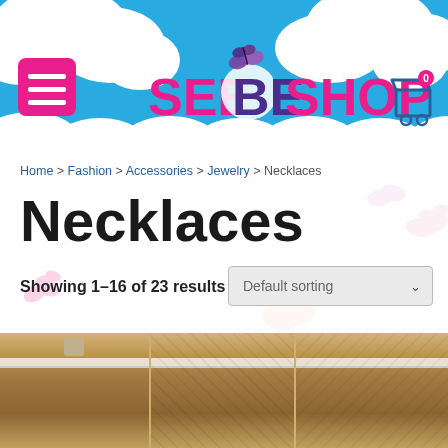[Figure (screenshot): SeeBEShop website header with blue sky background, cloud shapes, pink hamburger menu button, colorful logo text, and shopping cart icon]
Home > Fashion > Accessories > Jewelry > Necklaces
Necklaces
Showing 1–16 of 23 results
[Figure (screenshot): Default sorting dropdown selector]
[Figure (photo): Bottom portion of product thumbnails showing cork-topped bottle necklaces]